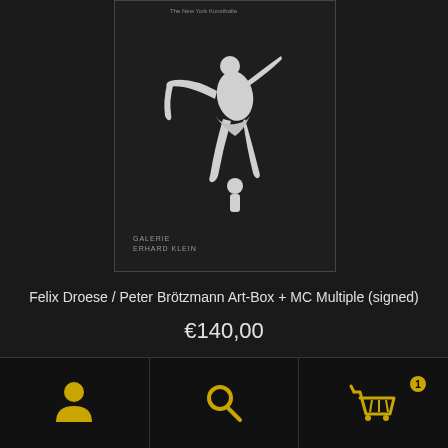[Figure (photo): Book/art-box cover with dark background and white silhouette figure, text 'GALERIE ERHARD KLEIN' at bottom left, small text at top reading 'The New York Kunsthalle']
Felix Droese / Peter Brötzmann Art-Box + MC Multiple (signed)
€140,00
Add to cart
[Figure (infographic): Bottom navigation bar with three icons: user/person icon (left), search magnifying glass icon (center), shopping cart icon with badge '1' (right) — all icons in golden/amber color on dark background]